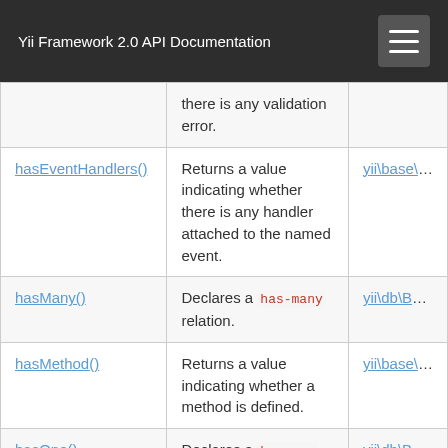Yii Framework 2.0 API Documentation
| Method | Description | Defined By |
| --- | --- | --- |
|  | there is any validation error. |  |
| hasEventHandlers() | Returns a value indicating whether there is any handler attached to the named event. | yii\base\Co |
| hasMany() | Declares a has-many relation. | yii\db\Base |
| hasMethod() | Returns a value indicating whether a method is defined. | yii\base\Co |
| hasOne() | Declares a has-one relation. | yii\db\Base |